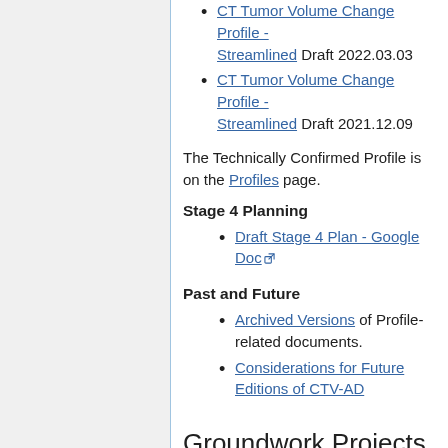CT Tumor Volume Change Profile - Streamlined Draft 2022.03.03
CT Tumor Volume Change Profile - Streamlined Draft 2021.12.09
The Technically Confirmed Profile is on the Profiles page.
Stage 4 Planning
Draft Stage 4 Plan - Google Doc
Past and Future
Archived Versions of Profile-related documents.
Considerations for Future Editions of CTV-AD
Groundwork Projects
These projects investigate (and resolve) scientific questions underlying QIBA Profile work.